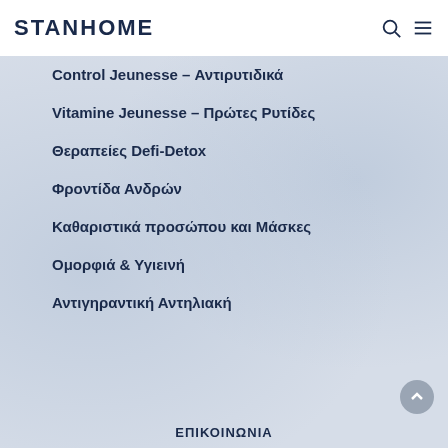STANHOME
Control Jeunesse – Αντιρυτιδικά
Vitamine Jeunesse – Πρώτες Ρυτίδες
Θεραπείες Defi-Detox
Φροντίδα Ανδρών
Καθαριστικά προσώπου και Μάσκες
Ομορφιά & Υγιεινή
Αντιγηραντική Αντηλιακή
ΕΠΙΚΟΙΝΩΝΙΑ